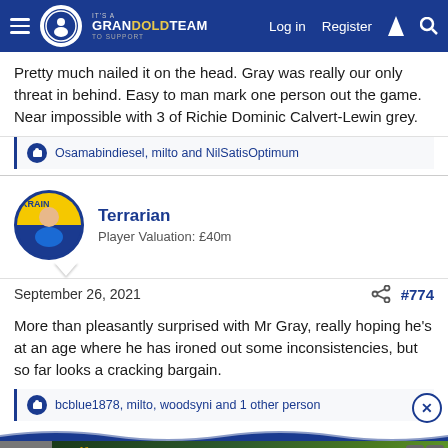It's a GRANDOLDTEAM TO SUPPORT — Log in  Register
Pretty much nailed it on the head. Gray was really our only threat in behind. Easy to man mark one person out the game. Near impossible with 3 of Richie Dominic Calvert-Lewin grey.
Osamabindiesel, milto and NilSatisOptimum
Terrarian
Player Valuation: £40m
September 26, 2021  #774
More than pleasantly surprised with Mr Gray, really hoping he's at an age where he has ironed out some inconsistencies, but so far looks a cracking bargain.
bcblue1878, milto, woodsyni and 1 other person
[Figure (screenshot): Wolf Game advertisement banner with wolves and 'THE HUNT IS ON!' tagline]